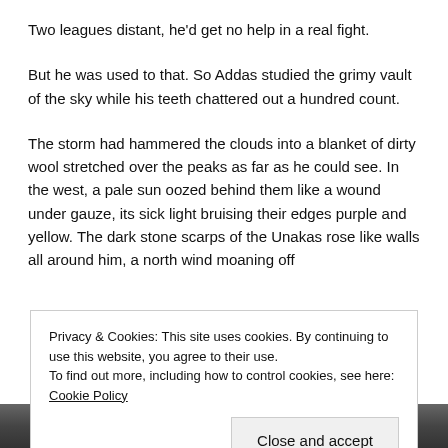Two leagues distant, he'd get no help in a real fight.
But he was used to that. So Addas studied the grimy vault of the sky while his teeth chattered out a hundred count.
The storm had hammered the clouds into a blanket of dirty wool stretched over the peaks as far as he could see. In the west, a pale sun oozed behind them like a wound under gauze, its sick light bruising their edges purple and yellow. The dark stone scarps of the Unakas rose like walls all around him, a north wind moaning off
Privacy & Cookies: This site uses cookies. By continuing to use this website, you agree to their use.
To find out more, including how to control cookies, see here: Cookie Policy
[Figure (photo): Bottom strip showing a dark mountainous or outdoor scene, partially visible]